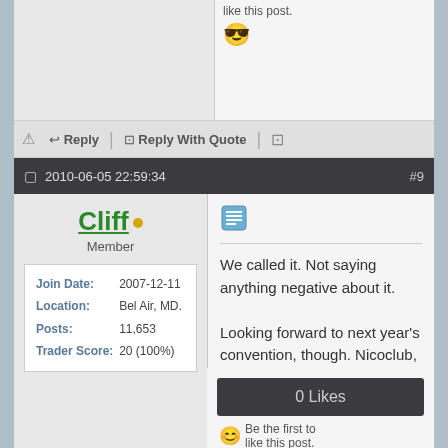like this post.
Reply | Reply With Quote |
2010-06-05 22:59:34  #9
Cliff  Member
| Join Date: | 2007-12-11 |
| Location: | Bel Air, MD. |
| Posts: | 11,653 |
| Trader Score: | 20 (100%) |
We called it. Not saying anything negative about it.

Looking forward to next year's convention, though. Nicoclub, or no Nicoclub. People make the convention.
0 Likes
Be the first to like this post.